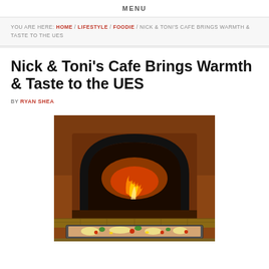MENU
YOU ARE HERE: HOME / LIFESTYLE / FOODIE / NICK & TONI'S CAFE BRINGS WARMTH & TASTE TO THE UES
Nick & Toni's Cafe Brings Warmth & Taste to the UES
BY RYAN SHEA
[Figure (photo): A wood-fired pizza oven with flames visible inside the arched opening, and a tray of pizza or flatbread with toppings in the foreground on a tiled surface.]